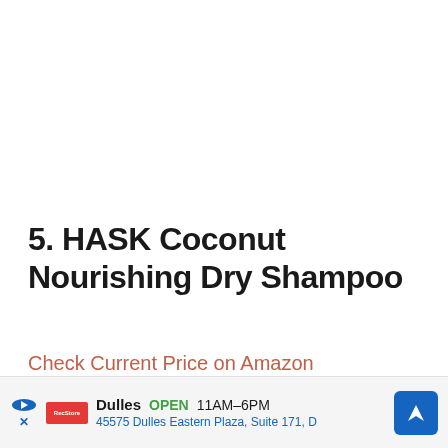5. HASK Coconut Nourishing Dry Shampoo
Check Current Price on Amazon
Though people tend to associate clean formu
[Figure (photo): Two HASK Coconut Nourishing Dry Shampoo bottles, peach/salmon colored with grey caps]
Dulles OPEN 11AM–6PM 45575 Dulles Eastern Plaza, Suite 171, D